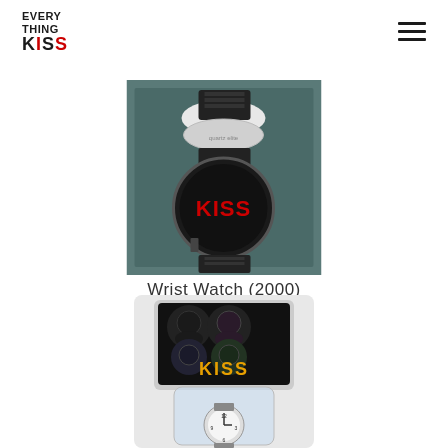EVERY THING KISS
[Figure (photo): KISS Wrist Watch in black display box, featuring KISS logo in red on a black circular watch face, with black band, circa 2000]
Wrist Watch (2000)
[Figure (photo): KISS wrist watch in blister pack packaging, showing four band members faces and KISS logo in orange/yellow, with watch visible at bottom]